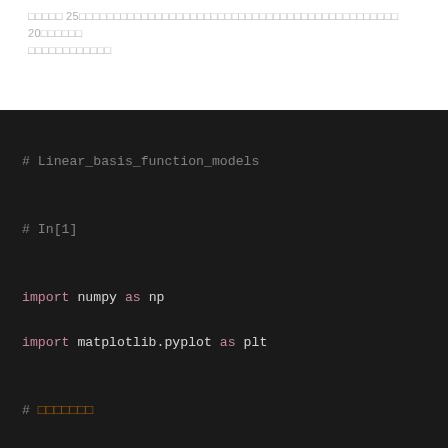図25 線形基底関数モデルによる 20個のデータへの回帰
[Figure (screenshot): Python code block on dark background showing: # Linear_basis_function_models, # In[1], import numpy as np, import matplotlib.pyplot as plt, # 日本語コメント, np.set_printoptions(precision=3, floatmode..., # 20個のデータ, x = np.array([35, 16, 22, 43, 5, 66, 20, 13, 52, 1, 39, 62, 45, 33, 8, 28, 71, 24, 18, 3])]